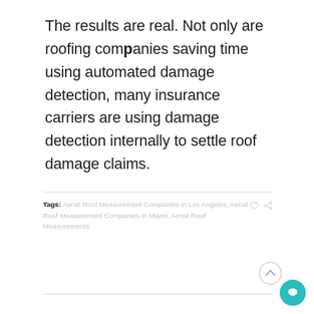The results are real. Not only are roofing companies saving time using automated damage detection, many insurance carriers are using damage detection internally to settle roof damage claims.
Tags: Aerial Roof Measurement Companies in Los Angeles, Aerial Roof Measurement Companies in Miami, Aerial Roof Measurements